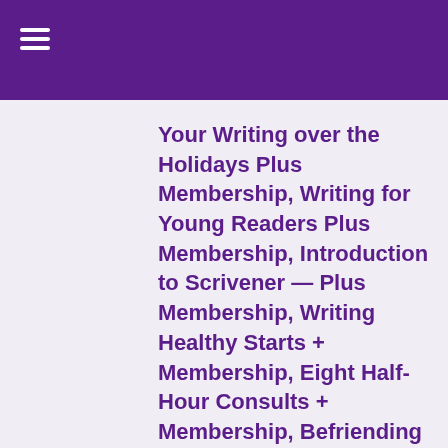Your Writing over the Holidays Plus Membership, Writing for Young Readers Plus Membership, Introduction to Scrivener — Plus Membership, Writing Healthy Starts + Membership, Eight Half-Hour Consults + Membership, Befriending the Giant + Membership or Write! Write! Write! Writing Exercises for Writing Prose from Personal Experience + Membership.